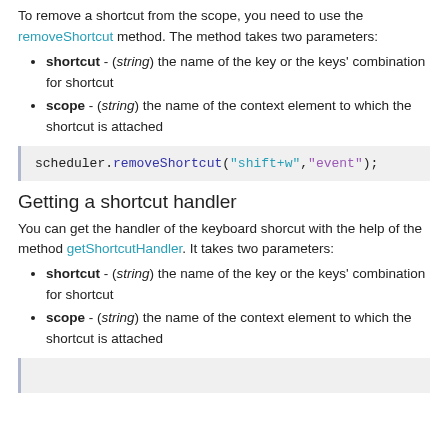To remove a shortcut from the scope, you need to use the removeShortcut method. The method takes two parameters:
shortcut - (string) the name of the key or the keys' combination for shortcut
scope - (string) the name of the context element to which the shortcut is attached
[Figure (screenshot): Code block showing: scheduler.removeShortcut("shift+w","event");]
Getting a shortcut handler
You can get the handler of the keyboard shorcut with the help of the method getShortcutHandler. It takes two parameters:
shortcut - (string) the name of the key or the keys' combination for shortcut
scope - (string) the name of the context element to which the shortcut is attached
[Figure (screenshot): Code block (partially visible at bottom)]